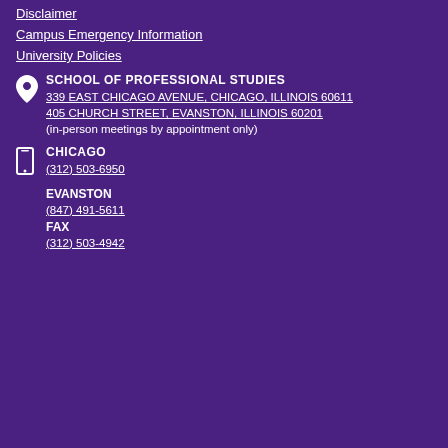Disclaimer
Campus Emergency Information
University Policies
SCHOOL OF PROFESSIONAL STUDIES
339 EAST CHICAGO AVENUE, CHICAGO, ILLINOIS 60611
405 CHURCH STREET, EVANSTON, ILLINOIS 60201
(in-person meetings by appointment only)
CHICAGO
(312) 503-6950
EVANSTON
(847) 491-5611
FAX
(312) 503-4942